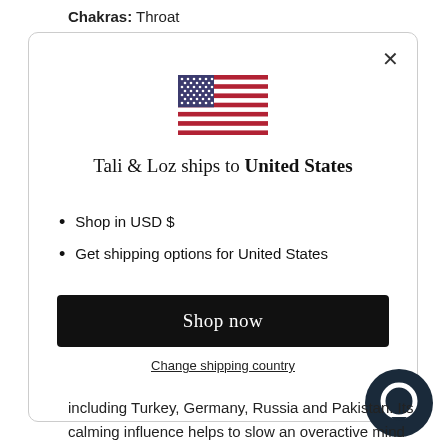Chakras: Throat
[Figure (screenshot): Modal dialog showing US flag, text 'Tali & Loz ships to United States', bullet points about USD and shipping options, a black 'Shop now' button, and a 'Change shipping country' link]
including Turkey, Germany, Russia and Pakistan. Its
calming influence helps to slow an overactive mind